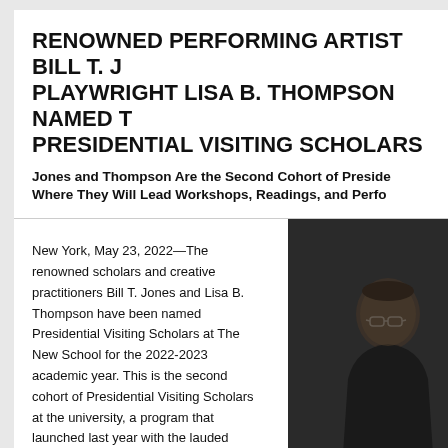RENOWNED PERFORMING ARTIST BILL T. JONES AND PLAYWRIGHT LISA B. THOMPSON NAMED THE PRESIDENTIAL VISITING SCHOLARS
Jones and Thompson Are the Second Cohort of Presidential Visiting Scholars, Where They Will Lead Workshops, Readings, and Performances
New York, May 23, 2022—The renowned scholars and creative practitioners Bill T. Jones and Lisa B. Thompson have been named Presidential Visiting Scholars at The New School for the 2022-2023 academic year. This is the second cohort of Presidential Visiting Scholars at the university, a program that launched last year with the lauded philosophers Judith Butler and Cornel West. The Presidential Visiting Scholars program brings major thinkers of the highest standing to the university to teach unique courses, collaborate on creative or research initiatives, deliver lectures, and participate in public programming and other special projects.
[Figure (photo): Portrait photo of a person (Bill T. Jones) against a dark background, wearing dark clothing and glasses.]